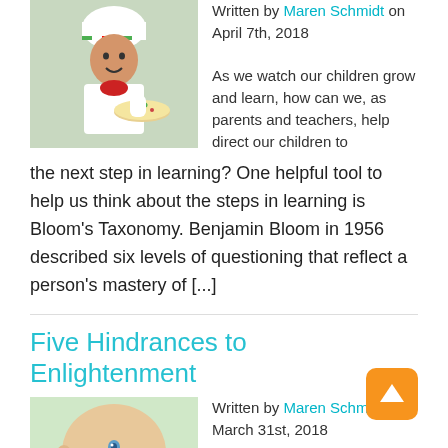[Figure (photo): Child dressed as a chef holding a pizza]
Written by Maren Schmidt on April 7th, 2018
As we watch our children grow and learn, how can we, as parents and teachers, help direct our children to the next step in learning? One helpful tool to help us think about the steps in learning is Bloom's Taxonomy. Benjamin Bloom in 1956 described six levels of questioning that reflect a person's mastery of [...]
Five Hindrances to Enlightenment
[Figure (photo): Baby lying down wearing yellow outfit]
Written by Maren Schmidt on March 31st, 2018
Last week's post discussed